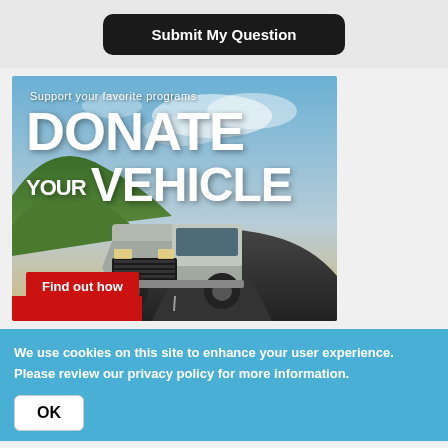[Figure (other): Black rounded rectangle button with white bold text 'Submit My Question']
[Figure (illustration): Donate Your Vehicle advertisement banner. Shows a truck driving on a road with green hills and cloudy sky. White text reads 'Support your favorite programs', 'DONATE', 'YOUR VEHICLE'. Red button at bottom left reads 'Find out how'.]
We use cookies on this site to enhance your user experience. Please review our privacy policy for more information.
[Figure (other): White rounded rectangle button with bold text 'OK']